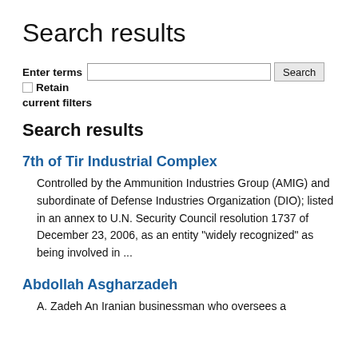Search results
Enter terms  Search  Retain current filters
Search results
7th of Tir Industrial Complex
Controlled by the Ammunition Industries Group (AMIG) and subordinate of Defense Industries Organization (DIO); listed in an annex to U.N. Security Council resolution 1737 of December 23, 2006, as an entity "widely recognized" as being involved in ...
Abdollah Asgharzadeh
A. Zadeh An Iranian businessman who oversees a